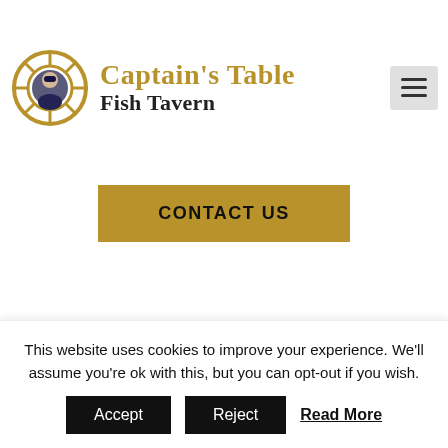[Figure (logo): Captain's Table Fish Tavern logo with ship wheel and captain portrait, gold and black text]
CONTACT US
Ελληνικά
info@captaintable.com
Follow Us
This website uses cookies to improve your experience. We'll assume you're ok with this, but you can opt-out if you wish.
Accept
Reject
Read More